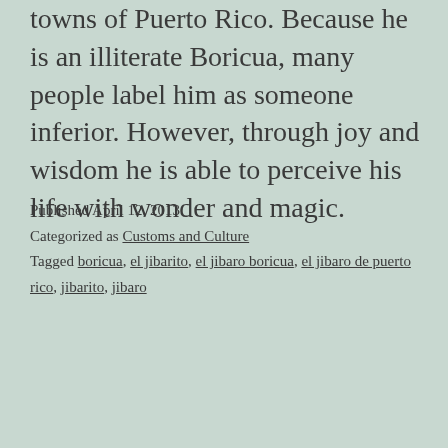towns of Puerto Rico. Because he is an illiterate Boricua, many people label him as someone inferior. However, through joy and wisdom he is able to perceive his life with wonder and magic.
Published April 12, 2013
Categorized as Customs and Culture
Tagged boricua, el jibarito, el jibaro boricua, el jibaro de puerto rico, jibarito, jibaro